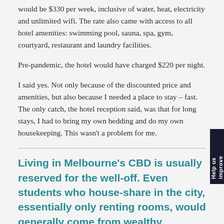would be $330 per week, inclusive of water, heat, electricity and unlimited wifi. The rate also came with access to all hotel amenities: swimming pool, sauna, spa, gym, courtyard, restaurant and laundry facilities.
Pre-pandemic, the hotel would have charged $220 per night.
I said yes. Not only because of the discounted price and amenities, but also because I needed a place to stay – fast. The only catch, the hotel reception said, was that for long stays, I had to bring my own bedding and do my own housekeeping. This wasn't a problem for me.
Living in Melbourne's CBD is usually reserved for the well-off. Even students who house-share in the city, essentially only renting rooms, would generally come from wealthy backgrounds